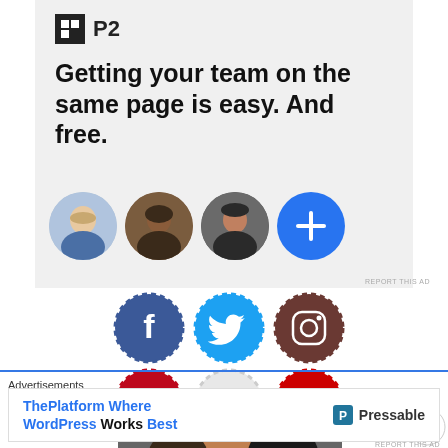[Figure (other): P2 advertisement banner with logo, headline text 'Getting your team on the same page is easy. And free.' and three person avatars plus a blue plus button]
REPORT THIS AD
[Figure (other): Six social media icon buttons in two rows: Facebook, Twitter, Instagram (top row); Pinterest, Flickr, YouTube (bottom row)]
[Figure (photo): Partial photo of a person, cropped]
Advertisements
[Figure (other): Pressable advertisement: 'ThePlatform Where WordPress Works Best' with Pressable logo]
REPORT THIS AD